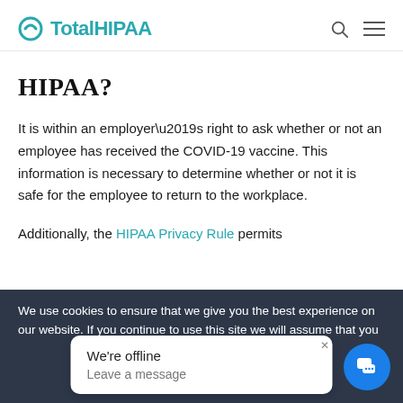TotalHIPAA
HIPAA?
It is within an employer’s right to ask whether or not an employee has received the COVID-19 vaccine. This information is necessary to determine whether or not it is safe for the employee to return to the workplace.
Additionally, the HIPAA Privacy Rule permits
We use cookies to ensure that we give you the best experience on our website. If you continue to use this site we will assume that you
We're offline
Leave a message